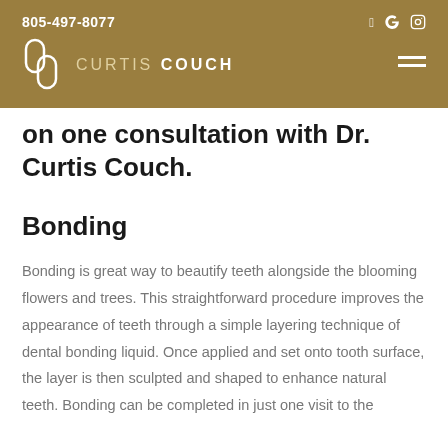805-497-8077
[Figure (logo): Curtis Couch dental practice logo with stylized C icon and text CURTIS COUCH]
on one consultation with Dr. Curtis Couch.
Bonding
Bonding is great way to beautify teeth alongside the blooming flowers and trees. This straightforward procedure improves the appearance of teeth through a simple layering technique of dental bonding liquid. Once applied and set onto tooth surface, the layer is then sculpted and shaped to enhance natural teeth. Bonding can be completed in just one visit to the